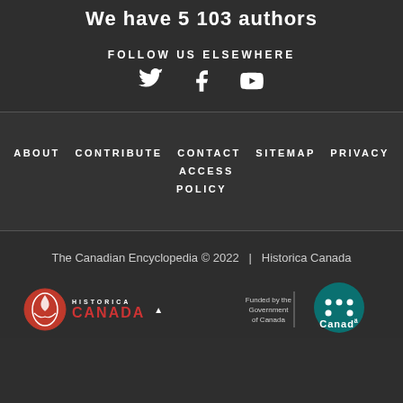We have 5 103 authors
FOLLOW US ELSEWHERE
[Figure (other): Social media icons: Twitter, Facebook, YouTube]
ABOUT CONTRIBUTE CONTACT SITEMAP PRIVACY ACCESS POLICY
The Canadian Encyclopedia © 2022 | Historica Canada
[Figure (logo): Historica Canada logo with maple leaf emblem in red circle, text HISTORICA CANADA]
[Figure (logo): Funded by the Government of Canada / Canada wordmark logo with teal circle and dots]